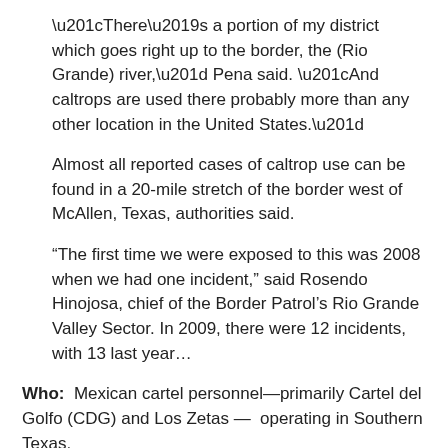“There’s a portion of my district which goes right up to the border, the (Rio Grande) river,” Pena said. “And caltrops are used there probably more than any other location in the United States.”
Almost all reported cases of caltrop use can be found in a 20-mile stretch of the border west of McAllen, Texas, authorities said.
“The first time we were exposed to this was 2008 when we had one incident,” said Rosendo Hinojosa, chief of the Border Patrol’s Rio Grande Valley Sector. In 2009, there were 12 incidents, with 13 last year…
Who: Mexican cartel personnel—primarily Cartel del Golfo (CDG) and Los Zetas — operating in Southern Texas.
What: Use of caltops—tetrahedra-like and sea urchin shaped metal devices with sharp tips— used to deflate the tires of pursuing police vehicles. The devices deployed are